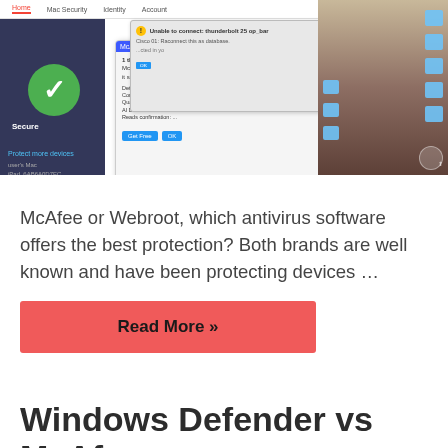[Figure (screenshot): Screenshot of McAfee antivirus software interface on a Mac computer, showing security dialogs, a green checkmark 'Secure' indicator, and a Mac desktop in the background]
McAfee or Webroot, which antivirus software offers the best protection? Both brands are well known and have been protecting devices …
Read More »
Windows Defender vs McAfee Head-to-Head (2023)